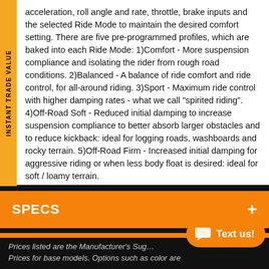acceleration, roll angle and rate, throttle, brake inputs and the selected Ride Mode to maintain the desired comfort setting. There are five pre-programmed profiles, which are baked into each Ride Mode: 1)Comfort - More suspension compliance and isolating the rider from rough road conditions. 2)Balanced - A balance of ride comfort and ride control, for all-around riding. 3)Sport - Maximum ride control with higher damping rates - what we call "spirited riding". 4)Off-Road Soft - Reduced initial damping to increase suspension compliance to better absorb larger obstacles and to reduce kickback: ideal for logging roads, washboards and rocky terrain. 5)Off-Road Firm - Increased initial damping for aggressive riding or when less body float is desired: ideal for soft / loamy terrain.
SPECS
PHOTOS
Prices listed are the Manufacturer's Suggested Retail Prices for base models. Options such as color are